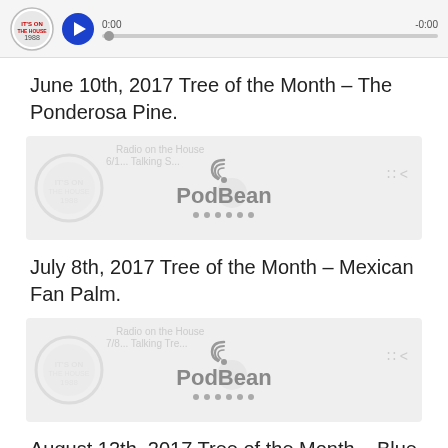[Figure (screenshot): Audio player bar with logo, play button, time display (0:00 and -0:00), and progress bar]
June 10th, 2017 Tree of the Month – The Ponderosa Pine.
[Figure (screenshot): PodBean embedded podcast player showing Radio on the House episode, Talking S..., with PodBean logo and dots]
July 8th, 2017 Tree of the Month – Mexican Fan Palm.
[Figure (screenshot): PodBean embedded podcast player showing Radio on the House episode 7/8, Talking Tre..., with PodBean logo and dots]
August 12th, 2017 Tree of the Month – Blue Palo Verde.